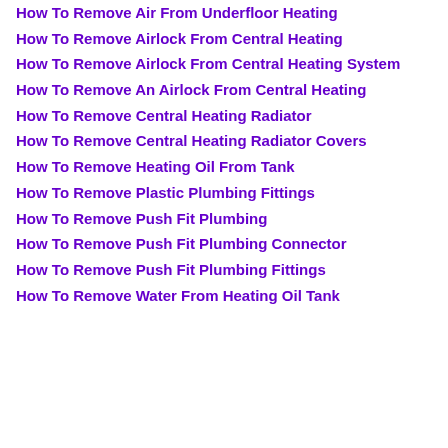How To Remove Air From Underfloor Heating
How To Remove Airlock From Central Heating
How To Remove Airlock From Central Heating System
How To Remove An Airlock From Central Heating
How To Remove Central Heating Radiator
How To Remove Central Heating Radiator Covers
How To Remove Heating Oil From Tank
How To Remove Plastic Plumbing Fittings
How To Remove Push Fit Plumbing
How To Remove Push Fit Plumbing Connector
How To Remove Push Fit Plumbing Fittings
How To Remove Water From Heating Oil Tank